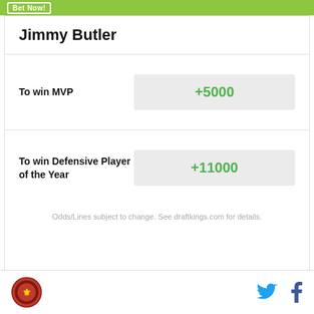Jimmy Butler
| Bet | Odds |
| --- | --- |
| To win MVP | +5000 |
| To win Defensive Player of the Year | +11000 |
Odds/Lines subject to change. See draftkings.com for details.